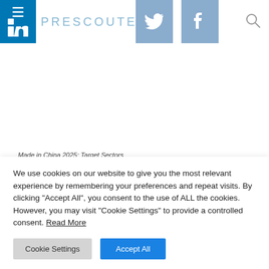PRESCOUTER — website header with LinkedIn, Twitter, Facebook social icons and search
Made in China 2025: Target Sectors
[Figure (illustration): Row of five partially visible red circular icons/buttons at the bottom of the content area]
We use cookies on our website to give you the most relevant experience by remembering your preferences and repeat visits. By clicking "Accept All", you consent to the use of ALL the cookies. However, you may visit "Cookie Settings" to provide a controlled consent. Read More
Cookie Settings | Accept All